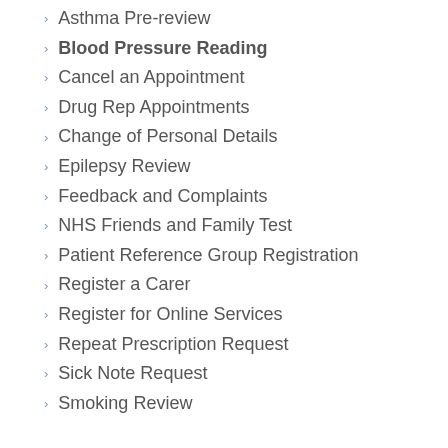Asthma Pre-review
Blood Pressure Reading
Cancel an Appointment
Drug Rep Appointments
Change of Personal Details
Epilepsy Review
Feedback and Complaints
NHS Friends and Family Test
Patient Reference Group Registration
Register a Carer
Register for Online Services
Repeat Prescription Request
Sick Note Request
Smoking Review